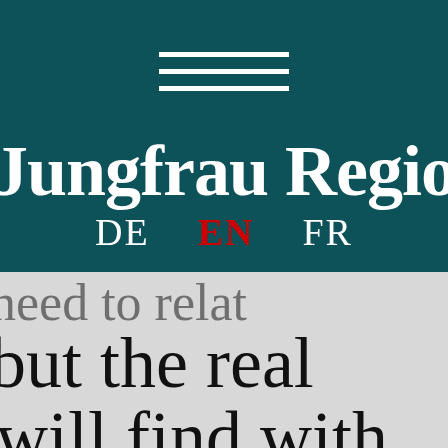[Figure (logo): Jungfrau Region website header with teal/dark green background, hamburger menu icon (three white horizontal lines), brand name 'Jungfrau Region' in white serif font, and language selector with DE, EN (active, red), FR options]
need to relat
but the real
will find with